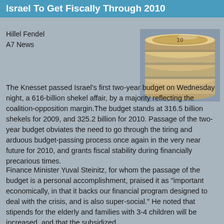Israel To Get Fiscally Through 2010
Hillel Fendel
A7 News
[Figure (photo): Stack of Israeli shekel coins photographed from above at an angle]
The Knesset passed Israel's first two-year budget on Wednesday night, a 616-billion shekel affair, by a majority reflecting the coalition-opposition margin.The budget stands at 316.5 billion shekels for 2009, and 325.2 billion for 2010. Passage of the two-year budget obviates the need to go through the tiring and arduous budget-passing process once again in the very near future for 2010, and grants fiscal stability during financially precarious times.
Finance Minister Yuval Steinitz, for whom the passage of the budget is a personal accomplishment, praised it as "important economically, in that it backs our financial program designed to deal with the crisis, and is also super-social." He noted that stipends for the elderly and families with 3-4 children will be increased, and that the subsidized